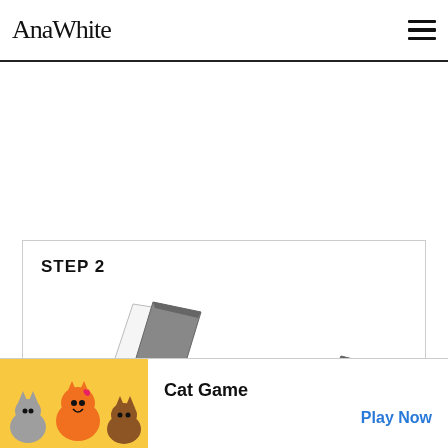AnaWhite
STEP 2
[Figure (illustration): Woodworking step 2 illustration showing angled boards/panels in perspective view]
[Figure (illustration): Ad banner: Cat Game mobile game advertisement with animated cat characters and Play Now button]